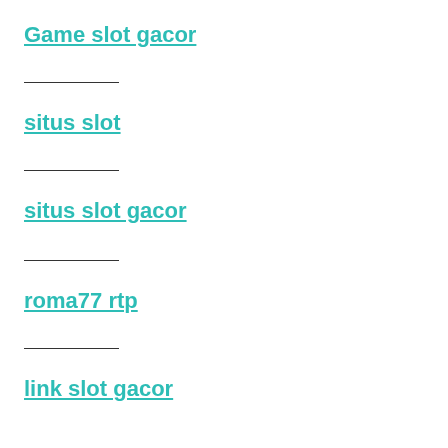Game slot gacor
situs slot
situs slot gacor
roma77 rtp
link slot gacor